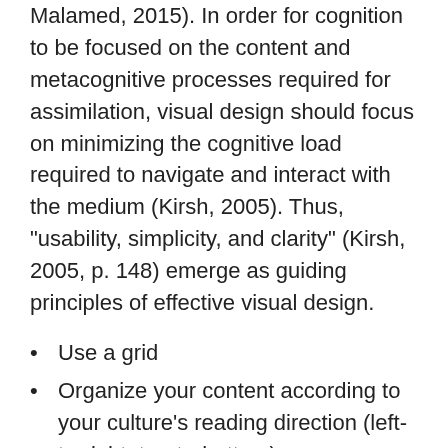Malamed, 2015). In order for cognition to be focused on the content and metacognitive processes required for assimilation, visual design should focus on minimizing the cognitive load required to navigate and interact with the medium (Kirsh, 2005). Thus, "usability, simplicity, and clarity" (Kirsh, 2005, p. 148) emerge as guiding principles of effective visual design.
Use a grid
Organize your content according to your culture's reading direction (left-to-right, top-to-bottom)
Use borders, lines, and horizontal rules carefully and only to intentionally disrupt